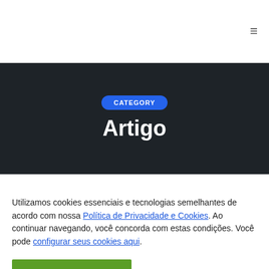≡
CATEGORY
Artigo
Utilizamos cookies essenciais e tecnologias semelhantes de acordo com nossa Política de Privacidade e Cookies. Ao continuar navegando, você concorda com estas condições. Você pode configurar seus cookies aqui.
ACEITAR E FECHAR